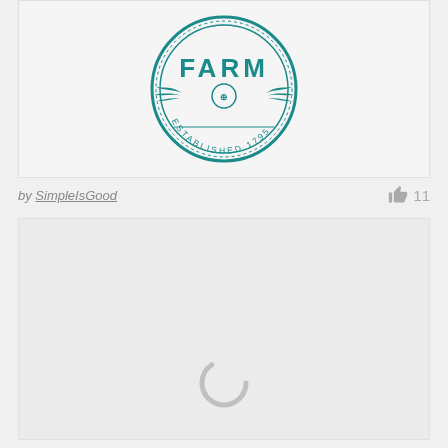[Figure (logo): Circular teal farm logo badge with text 'FARM' and 'ESTABLISHED 1795', featuring decorative wings and border elements]
by SimpleIsGood
11
[Figure (other): Loading spinner icon (gray arc/circle) on light gray background, indicating content is loading]